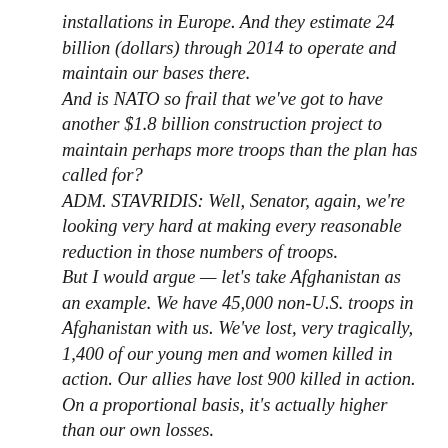installations in Europe. And they estimate 24 billion (dollars) through 2014 to operate and maintain our bases there. And is NATO so frail that we've got to have another $1.8 billion construction project to maintain perhaps more troops than the plan has called for? ADM. STAVRIDIS: Well, Senator, again, we're looking very hard at making every reasonable reduction in those numbers of troops. But I would argue — let's take Afghanistan as an example. We have 45,000 non-U.S. troops in Afghanistan with us. We've lost, very tragically, 1,400 of our young men and women killed in action. Our allies have lost 900 killed in action. On a proportional basis, it's actually higher than our own losses.